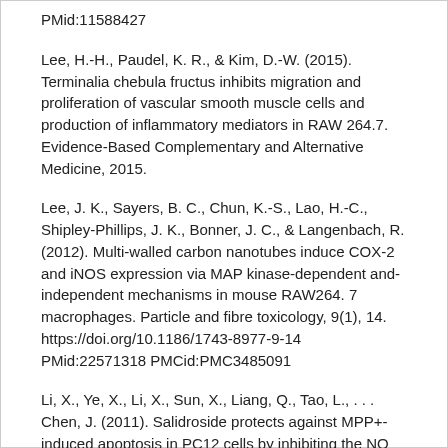PMid:11588427
Lee, H.-H., Paudel, K. R., & Kim, D.-W. (2015). Terminalia chebula fructus inhibits migration and proliferation of vascular smooth muscle cells and production of inflammatory mediators in RAW 264.7. Evidence-Based Complementary and Alternative Medicine, 2015.
Lee, J. K., Sayers, B. C., Chun, K.-S., Lao, H.-C., Shipley-Phillips, J. K., Bonner, J. C., & Langenbach, R. (2012). Multi-walled carbon nanotubes induce COX-2 and iNOS expression via MAP kinase-dependent and-independent mechanisms in mouse RAW264. 7 macrophages. Particle and fibre toxicology, 9(1), 14. https://doi.org/10.1186/1743-8977-9-14 PMid:22571318 PMCid:PMC3485091
Li, X., Ye, X., Li, X., Sun, X., Liang, Q., Tao, L., . . . Chen, J. (2011). Salidroside protects against MPP+-induced apoptosis in PC12 cells by inhibiting the NO pathway. Brain research, 1382, 9-18. https://doi.org/10.1016/j.brainres.2011.01.015